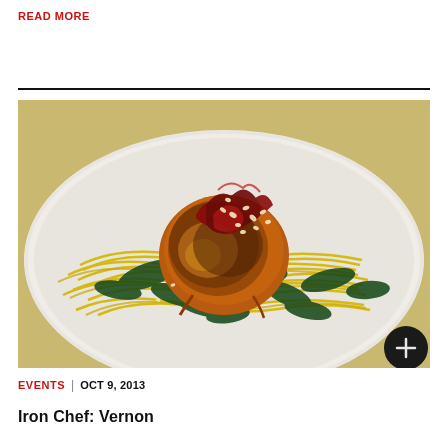READ MORE
[Figure (photo): A seared scallop topped with dark red kimchi or beet relish and sesame seeds, plated on yellow spaghetti squash strands and sautéed dark greens on a white plate.]
EVENTS  |  OCT 9, 2013
Iron Chef: Vernon